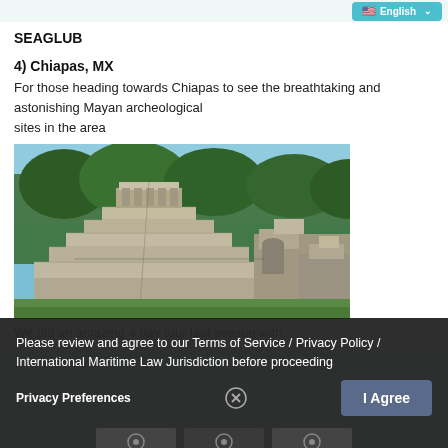SEAGLUB | English
4) Chiapas, MX
For those heading towards Chiapas to see the breathtaking and astonishing Mayan archeological
sites in the area
[Figure (photo): Photograph of a Mayan pyramid (likely Palenque) with stone steps leading up to a temple structure, surrounded by trees and ruins, under a blue sky.]
We did an amazing 4 day tour last season with
Please review and agree to our Terms of Service / Privacy Policy / International Maritime Law Jurisdiction before proceeding
Privacy Preferences
I Agree